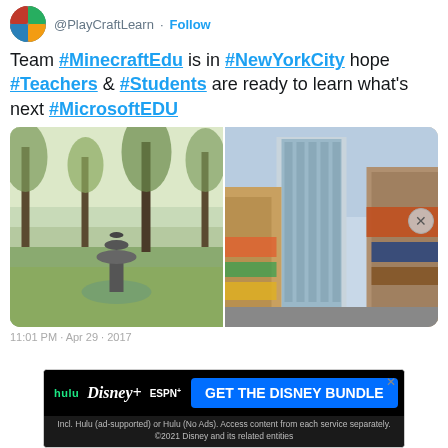@PlayCraftLearn · Follow
Team #MinecraftEdu is in #NewYorkCity hope #Teachers & #Students are ready to learn what's next #MicrosoftEDU
[Figure (photo): Two side-by-side photos: left shows a park with trees and a fountain, right shows New York City street with tall buildings and colorful signage]
11:01 PM · Apr 29 · 2017
[Figure (screenshot): Disney Bundle advertisement banner featuring Hulu, Disney+, and ESPN+ logos with 'GET THE DISNEY BUNDLE' call-to-action button and fine print text]